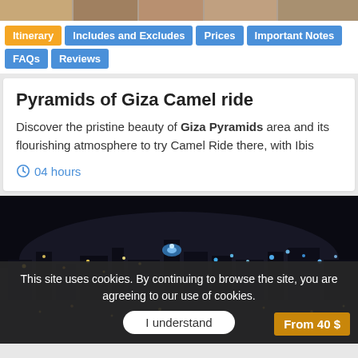[Figure (photo): Top strip showing partial photos of people]
Itinerary | Includes and Excludes | Prices | Important Notes | FAQs | Reviews
Pyramids of Giza Camel ride
Discover the pristine beauty of Giza Pyramids area and its flourishing atmosphere to try Camel Ride there, with Ibis
04 hours
[Figure (photo): Night city panorama photo showing lights of Cairo at night]
This site uses cookies. By continuing to browse the site, you are agreeing to our use of cookies.
I understand
From 40 $